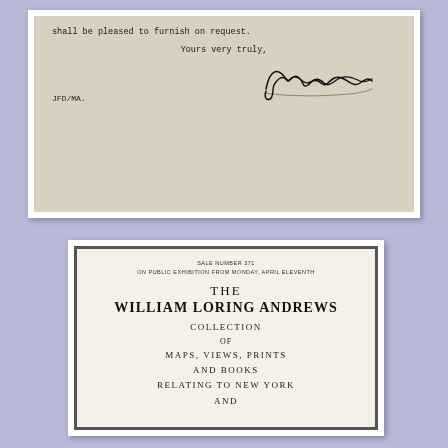[Figure (photo): Fragment of a typewritten letter showing closing lines: 'shall be pleased to furnish on request.', closing 'Yours very truly,', initials 'JFD/MA.' at lower left, and a cursive signature (James W. Drake) at right.]
[Figure (photo): Cover page of an auction catalog titled 'The William Loring Andrews Collection of Maps, Views, Prints and Books Relating to New York and [continued]', with sale number and exhibition date printed at top in small caps.]